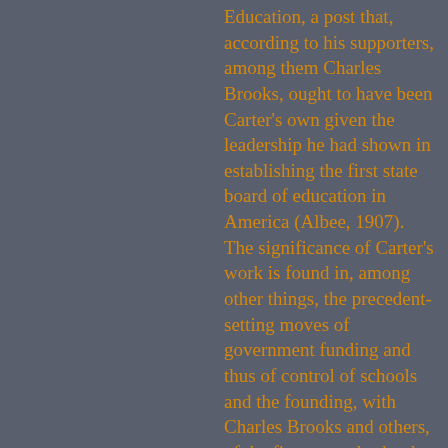Education, a post that, according to his supporters, among them Charles Brooks, ought to have been Carter's own given the leadership he had shown in establishing the first state board of education in America (Albee, 1907). The significance of Carter's work is found in, among other things, the precedent-setting moves of government funding and thus of control of schools and the founding, with Charles Brooks and others, of the first normal school at Framington, Massachusetts (Mann, 1846, cited in Cubberley, 1920).

Readily accepting the post of